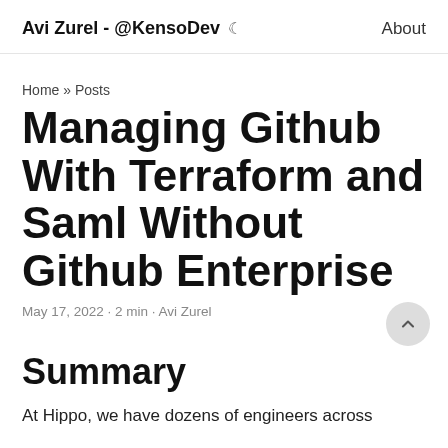Avi Zurel - @KensoDev ☾  About
Home » Posts
Managing Github With Terraform and Saml Without Github Enterprise
May 17, 2022 · 2 min · Avi Zurel
Summary
At Hippo, we have dozens of engineers across